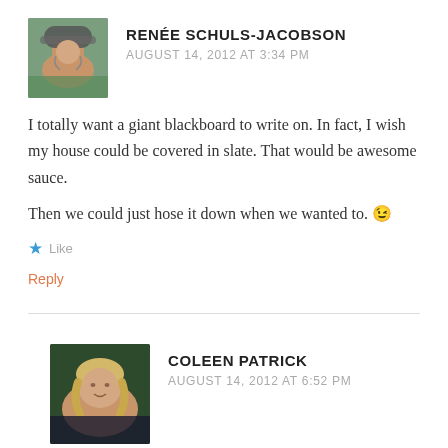[Figure (photo): Profile photo of Renée Schuls-Jacobson, woman in bicycle helmet, outdoors]
RENÉE SCHULS-JACOBSON
AUGUST 14, 2012 AT 3:34 PM
I totally want a giant blackboard to write on. In fact, I wish my house could be covered in slate. That would be awesome sauce.
Then we could just hose it down when we wanted to. 😉
★ Like
Reply
[Figure (photo): Profile photo of Coleen Patrick, woman with blonde hair]
COLEEN PATRICK
AUGUST 14, 2012 AT 6:52 PM